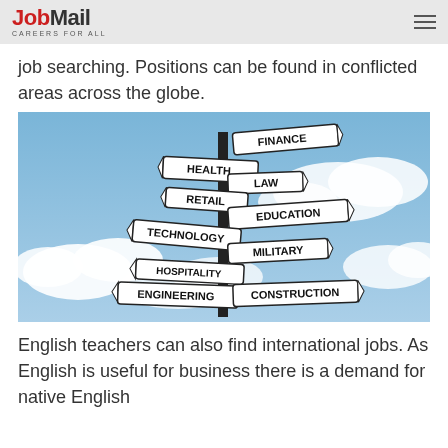JobMail CAREERS FOR ALL
job searching. Positions can be found in conflicted areas across the globe.
[Figure (photo): A street signpost with multiple directional signs pointing in different directions, each labelled with a different career field: Finance, Health, Law, Retail, Education, Technology, Military, Hospitality, Engineering, Construction. Photographed against a blue sky with clouds.]
English teachers can also find international jobs. As English is useful for business there is a demand for native English